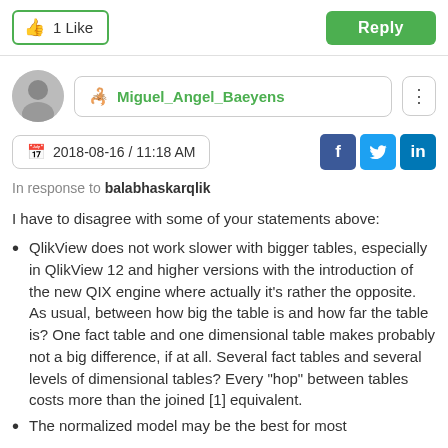1 Like | Reply
Miguel_Angel_Baeyens
2018-08-16 / 11:18 AM
In response to balabhaskarqlik
I have to disagree with some of your statements above:
QlikView does not work slower with bigger tables, especially in QlikView 12 and higher versions with the introduction of the new QIX engine where actually it's rather the opposite. As usual, between how big the table is and how far the table is? One fact table and one dimensional table makes probably not a big difference, if at all. Several fact tables and several levels of dimensional tables? Every "hop" between tables costs more than the joined [1] equivalent.
The normalized model may be the best for most